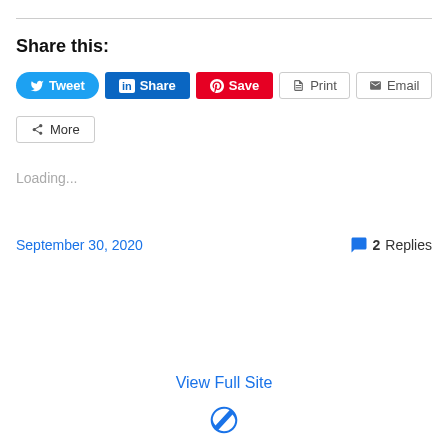Share this:
[Figure (screenshot): Social share buttons row: Tweet (Twitter), Share (LinkedIn), Save (Pinterest), Print, Email]
[Figure (screenshot): More share button]
Loading...
September 30, 2020
2 Replies
View Full Site
[Figure (logo): WordPress logo icon]